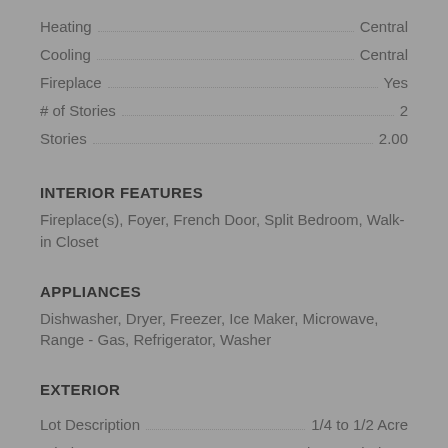Heating … Central
Cooling … Central
Fireplace … Yes
# of Stories … 2
Stories … 2.00
INTERIOR FEATURES
Fireplace(s), Foyer, French Door, Split Bedroom, Walk-in Closet
APPLIANCES
Dishwasher, Dryer, Freezer, Ice Maker, Microwave, Range - Gas, Refrigerator, Washer
EXTERIOR
Lot Description … 1/4 to 1/2 Acre
Windows … Hurricane Windows